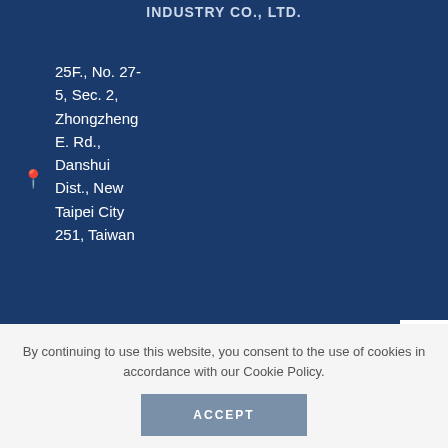INDUSTRY CO., LTD.
25F., No. 27-5, Sec. 2, Zhongzheng E. Rd., Danshui Dist., New Taipei City 251, Taiwan
+886 2 8809 2236
[Figure (logo): SGS system certification checkmark logo, CE mark, and a white rectangular box]
By continuing to use this website, you consent to the use of cookies in accordance with our Cookie Policy.
ACCEPT